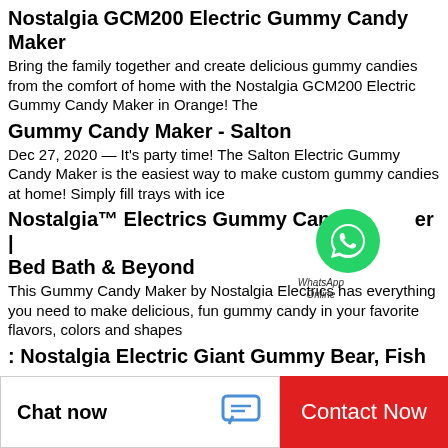Nostalgia GCM200 Electric Gummy Candy Maker
Bring the family together and create delicious gummy candies from the comfort of home with the Nostalgia GCM200 Electric Gummy Candy Maker in Orange! The
Gummy Candy Maker - Salton
Dec 27, 2020 — It's party time! The Salton Electric Gummy Candy Maker is the easiest way to make custom gummy candies at home! Simply fill trays with ice
Nostalgia™ Electrics Gummy Candy Maker | Bed Bath & Beyond
[Figure (logo): WhatsApp green circle logo with phone icon, labeled 'WhatsApp Online']
This Gummy Candy Maker by Nostalgia Electrics has everything you need to make delicious, fun gummy candy in your favorite flavors, colors and shapes
: Nostalgia Electric Giant Gummy Bear, Fish and
Frequently bought together. Nostalgia Electric Giant Gummy Bear, Fish and Worm Maker Try with your own
Chat now
Contact Now